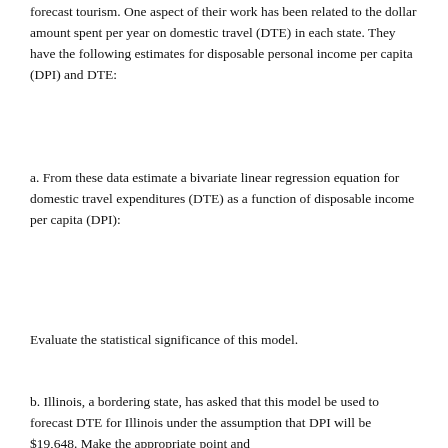forecast tourism. One aspect of their work has been related to the dollar amount spent per year on domestic travel (DTE) in each state. They have the following estimates for disposable personal income per capita (DPI) and DTE:
a. From these data estimate a bivariate linear regression equation for domestic travel expenditures (DTE) as a function of disposable income per capita (DPI):
Evaluate the statistical significance of this model.
b. Illinois, a bordering state, has asked that this model be used to forecast DTE for Illinois under the assumption that DPI will be $19,648. Make the appropriate point and